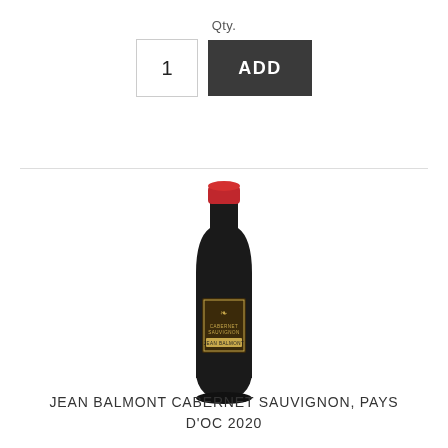Qty.
1
ADD
[Figure (photo): Wine bottle of Jean Balmont Cabernet Sauvignon with dark label and red foil cap]
JEAN BALMONT CABERNET SAUVIGNON, PAYS D'OC 2020